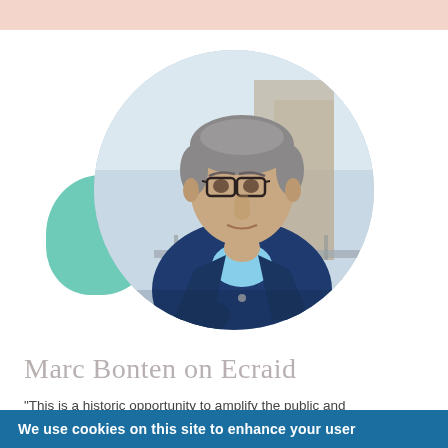[Figure (photo): Portrait photo of a middle-aged man wearing glasses, a blue blazer and light blue shirt, displayed in a circular crop with a teal blob shape to the left, on a white background with a pink top bar.]
Marc Bonten on Ecraid
"This is a historic opportunity to amplify the public and
We use cookies on this site to enhance your user